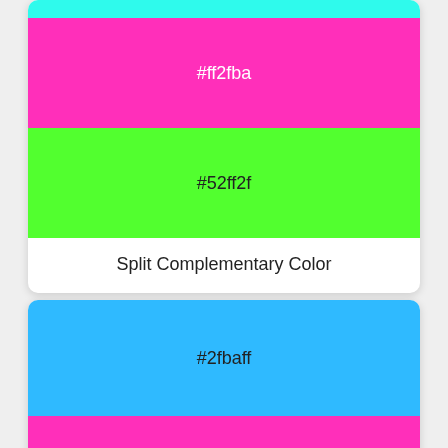[Figure (infographic): Split Complementary Color card showing three color swatches: cyan at top (partially visible), hot pink #ff2fba, and lime green #52ff2f, with label 'Split Complementary Color' below]
[Figure (infographic): Color card showing blue swatch #2fbaff on top and hot pink swatch #ff2fba below, with a lime green strip at the very bottom (partially visible)]